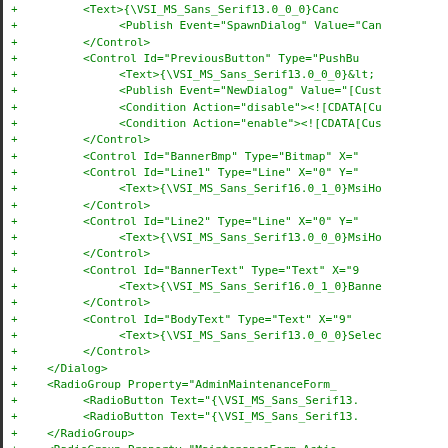[Figure (screenshot): Code diff view showing XML markup with green plus signs indicating added lines. Contains XML elements for UI controls including Control, Publish, Condition, RadioGroup, and RadioButton elements with various attributes.]